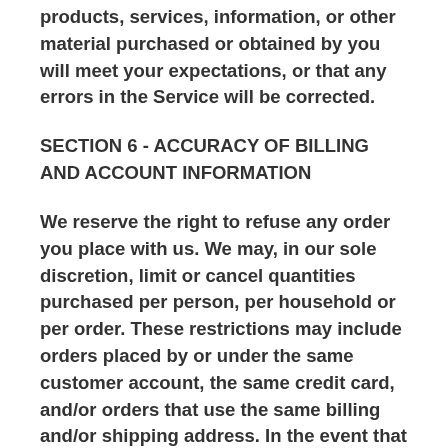products, services, information, or other material purchased or obtained by you will meet your expectations, or that any errors in the Service will be corrected.
SECTION 6 - ACCURACY OF BILLING AND ACCOUNT INFORMATION
We reserve the right to refuse any order you place with us. We may, in our sole discretion, limit or cancel quantities purchased per person, per household or per order. These restrictions may include orders placed by or under the same customer account, the same credit card, and/or orders that use the same billing and/or shipping address. In the event that we make a change to or cancel an order, we may attempt to notify you by contacting the e-mail and/or billing